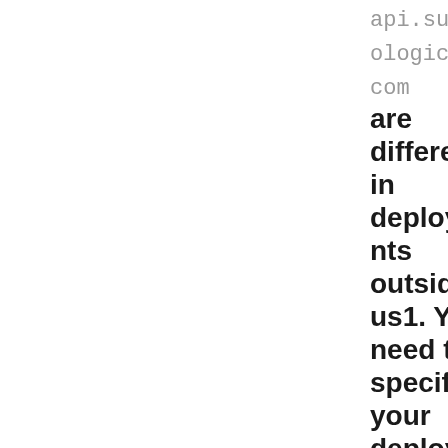api.sumologic.com are different in deployments outside us1. You need to specify your deployment in the endpoint. For example api.YOUR_DEPLOYMENT.sumologic.com